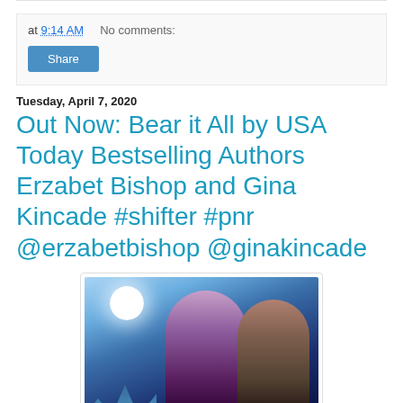at 9:14 AM   No comments:
Share
Tuesday, April 7, 2020
Out Now: Bear it All by USA Today Bestselling Authors Erzabet Bishop and Gina Kincade #shifter #pnr @erzabetbishop @ginakincade
[Figure (photo): Book cover showing a woman and man about to kiss under a full moon against a blue winter night sky with snow-covered trees]